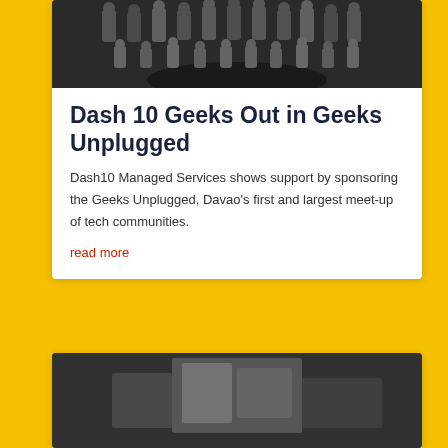[Figure (photo): Black and white group photo of people gathered in a circle, viewed from above]
Dash 10 Geeks Out in Geeks Unplugged
Dash10 Managed Services shows support by sponsoring the Geeks Unplugged, Davao's first and largest meet-up of tech communities.
read more
[Figure (photo): Black and white photo of people at an event, partially visible]